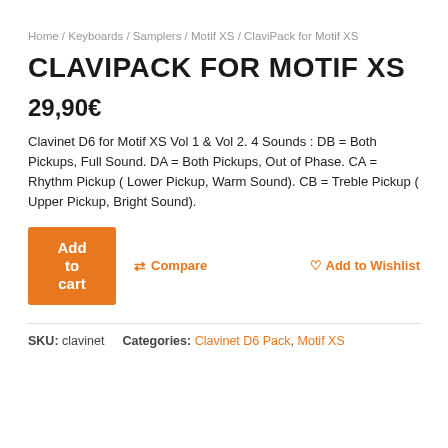Home / Keyboards / Samplers / Motif XS / ClaviPack for Motif XS
CLAVIPACK FOR MOTIF XS
29,90€
Clavinet D6 for Motif XS Vol 1 & Vol 2. 4 Sounds : DB = Both Pickups, Full Sound. DA = Both Pickups, Out of Phase. CA = Rhythm Pickup ( Lower Pickup, Warm Sound). CB = Treble Pickup ( Upper Pickup, Bright Sound).
Add to cart | Compare | Add to Wishlist
SKU: clavinet   Categories: Clavinet D6 Pack, Motif XS